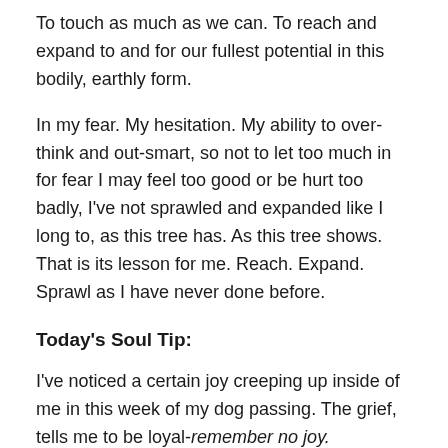To touch as much as we can. To reach and expand to and for our fullest potential in this bodily, earthly form.
In my fear. My hesitation. My ability to over-think and out-smart, so not to let too much in for fear I may feel too good or be hurt too badly, I've not sprawled and expanded like I long to, as this tree has. As this tree shows. That is its lesson for me. Reach. Expand. Sprawl as I have never done before.
Today's Soul Tip:
I've noticed a certain joy creeping up inside of me in this week of my dog passing. The grief, tells me to be loyal- remember no joy. Something bad has happened. As sad as it was to watch my dog die, as someone said, the experience showed me who I am and who I was in those moments was open, vulnerable and courageous. I faced